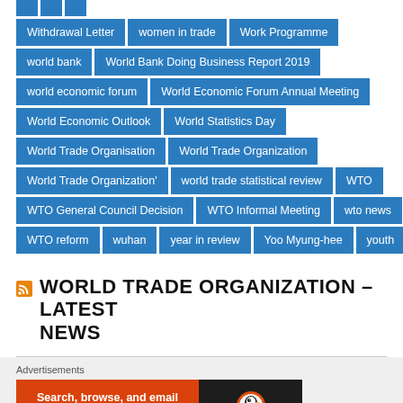Withdrawal Letter | women in trade | Work Programme
world bank | World Bank Doing Business Report 2019
world economic forum | World Economic Forum Annual Meeting
World Economic Outlook | World Statistics Day
World Trade Organisation | World Trade Organization
World Trade Organization' | world trade statistical review | WTO
WTO General Council Decision | WTO Informal Meeting | wto news
WTO reform | wuhan | year in review | Yoo Myung-hee | youth
WORLD TRADE ORGANIZATION – LATEST NEWS
[Figure (screenshot): DuckDuckGo advertisement banner: Search, browse, and email with more privacy. All in One Free App. With DuckDuckGo logo on dark background.]